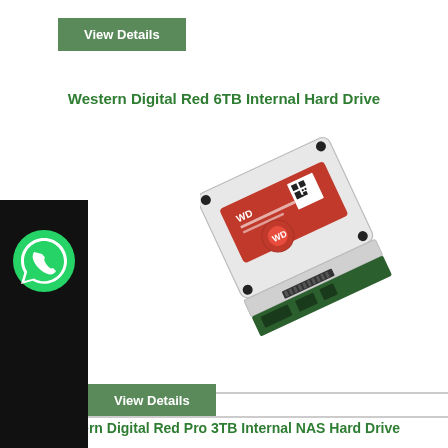View Details
Western Digital Red 6TB Internal Hard Drive
[Figure (photo): Western Digital Red 6TB Internal Hard Drive product photo — a 3.5 inch hard disk drive with red WD branding label and black PCB connector at bottom]
[Figure (logo): WhatsApp logo — green speech bubble with white phone handset icon on black background panel]
View Details
Western Digital Red Pro 3TB Internal NAS Hard Drive